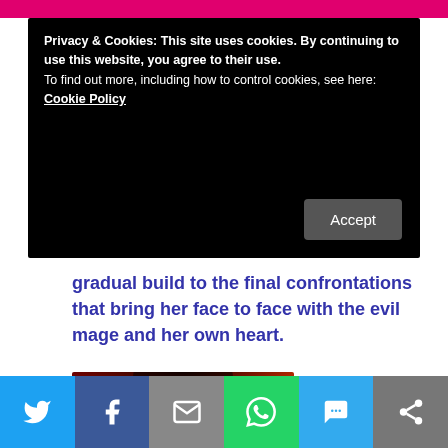Privacy & Cookies: This site uses cookies. By continuing to use this website, you agree to their use.
To find out more, including how to control cookies, see here: Cookie Policy
gradual build to the final confrontations that bring her face to face with the evil mage and her own heart.
[Figure (illustration): Book cover image with red/dark background and text reading 'Legend claims when Scotland fell to English rule The Highland Dragons took a vow...']